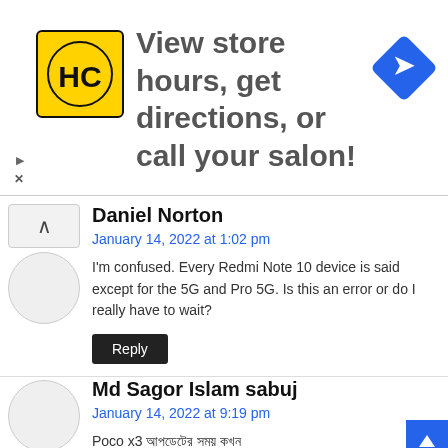[Figure (infographic): Advertisement banner with HC logo (yellow square with black HC letters), text 'View store hours, get directions, or call your salon!', and a blue diamond navigation arrow icon on the right. Small play and X close icons on the lower left.]
Daniel Norton
January 14, 2022 at 1:02 pm
I'm confused. Every Redmi Note 10 device is said except for the 5G and Pro 5G. Is this an error or do I really have to wait?
Md Sagor Islam sabuj
January 14, 2022 at 9:19 pm
Poco x3 আপডেটের সময় কখন